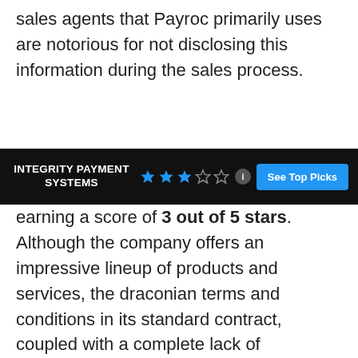sales agents that Payroc primarily uses are notorious for not disclosing this information during the sales process.
[Figure (infographic): Dark banner showing 'INTEGRITY PAYMENT SYSTEMS' with 3 out of 5 star rating and a 'See Top Picks' button]
earning a score of 3 out of 5 stars. Although the company offers an impressive lineup of products and services, the draconian terms and conditions in its standard contract, coupled with a complete lack of transparency regarding processing rates and account fees, place it firmly in the mediocre category. Savvy, experienced merchants can possibly negotiate a fair